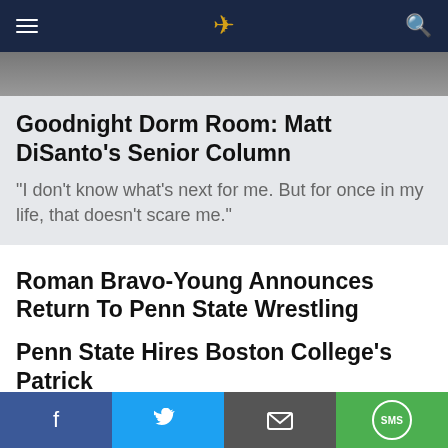Daily Collegian navigation bar
[Figure (photo): Partial photo strip of a person, cropped at top of page]
Goodnight Dorm Room: Matt DiSanto’s Senior Column
“I don’t know what’s next for me. But for once in my life, that doesn’t scare me.”
Roman Bravo-Young Announces Return To Penn State Wrestling
Penn State Hires Boston College’s Patrick
[Figure (photo): Photo of a blonde woman, partially visible]
Digital Marketing Software May Be Better Than You Think
Digital Attribution Management | Sponsored
Social share bar: Facebook, Twitter, Email, SMS